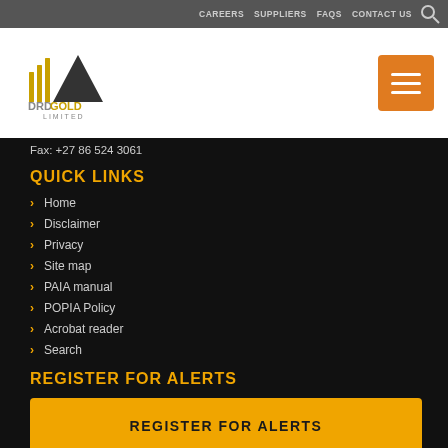CAREERS  SUPPLIERS  FAQS  CONTACT US
[Figure (logo): DRDGOLD LIMITED logo with gold and grey mountain/lines symbol]
Fax: +27 86 524 3061
QUICK LINKS
Home
Disclaimer
Privacy
Site map
PAIA manual
POPIA Policy
Acrobat reader
Search
REGISTER FOR ALERTS
REGISTER FOR ALERTS
Sign up in order to receive up-to-the minute e-mail notifications to all our latest news and publications.